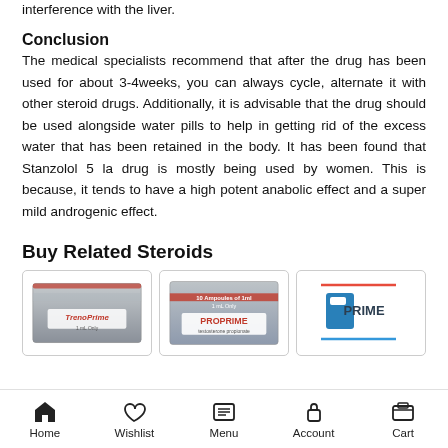interference with the liver.
Conclusion
The medical specialists recommend that after the drug has been used for about 3-4weeks, you can always cycle, alternate it with other steroid drugs. Additionally, it is advisable that the drug should be used alongside water pills to help in getting rid of the excess water that has been retained in the body. It has been found that Stanzolol 5 la drug is mostly being used by women. This is because, it tends to have a high potent anabolic effect and a super mild androgenic effect.
Buy Related Steroids
[Figure (photo): Product image of TrenoPrime steroid box]
[Figure (photo): Product image of PROPRIME steroid box]
[Figure (photo): Product image of PRIME steroid (partially visible)]
Home  Wishlist  Menu  Account  Cart